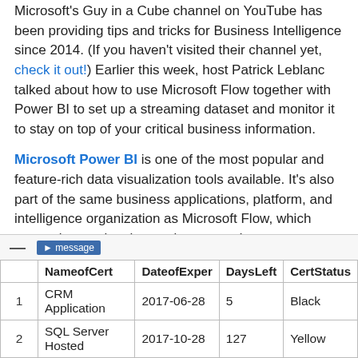Microsoft's Guy in a Cube channel on YouTube has been providing tips and tricks for Business Intelligence since 2014. (If you haven't visited their channel yet, check it out!) Earlier this week, host Patrick Leblanc talked about how to use Microsoft Flow together with Power BI to set up a streaming dataset and monitor it to stay on top of your critical business information.
Microsoft Power BI is one of the most popular and feature-rich data visualization tools available. It's also part of the same business applications, platform, and intelligence organization as Microsoft Flow, which means integrating the two is easy and creates powerful possibilities. For example, let's imagine that you wanted to set up a workflow automation to alert you when a technical certificate is about to expire. You have a table with four columns for the certificate name, expiration date, the number of days left until expiry, and the certification status.
|  | NameofCert | DateofExper | DaysLeft | CertStatus |
| --- | --- | --- | --- | --- |
| 1 | CRM Application | 2017-06-28 | 5 | Black |
| 2 | SQL Server Hosted | 2017-10-28 | 127 | Yellow |